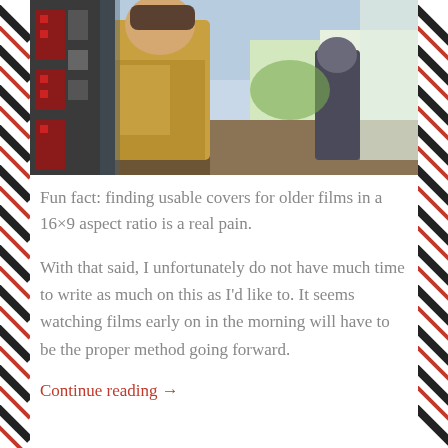[Figure (illustration): Watercolor-style painting showing a man in a yellow/olive vest on the left side and a dark-clothed figure in the background against a colorful landscape]
Fun fact: finding usable covers for older films in a 16×9 aspect ratio is a real pain.
With that said, I unfortunately do not have much time to write as much on this as I'd like to. It seems watching films early on in the morning will have to be the proper method going forward.
Continue reading →